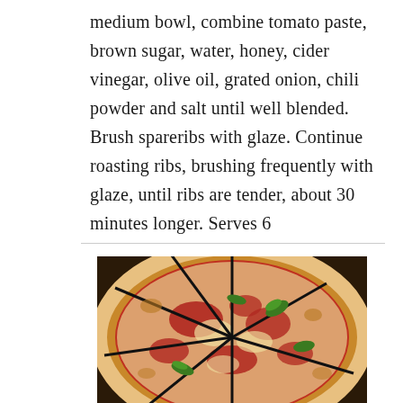medium bowl, combine tomato paste, brown sugar, water, honey, cider vinegar, olive oil, grated onion, chili powder and salt until well blended. Brush spareribs with glaze.  Continue roasting ribs, brushing frequently with glaze, until ribs are tender, about 30 minutes longer.  Serves 6
[Figure (photo): A pizza cut into slices arranged in a circular pattern, topped with tomato sauce, melted cheese, and fresh basil leaves, viewed from above.]